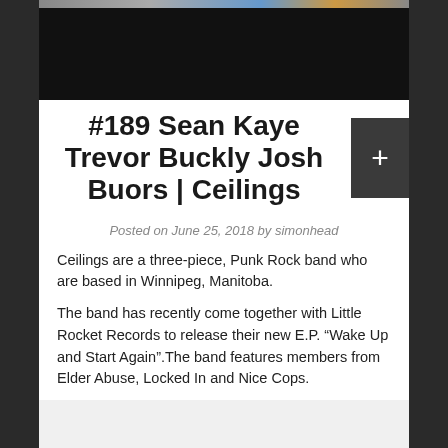[Figure (photo): Dark banner image at top, likely a band or concert photo with dark/black background and a colorful strip at the top]
#189 Sean Kaye Trevor Buckly Josh Buors | Ceilings
Posted on June 25, 2018 by simonhead
Ceilings are a three-piece, Punk Rock band who are based in Winnipeg, Manitoba.
The band has recently come together with Little Rocket Records to release their new E.P. “Wake Up and Start Again”.The band features members from Elder Abuse, Locked In and Nice Cops.